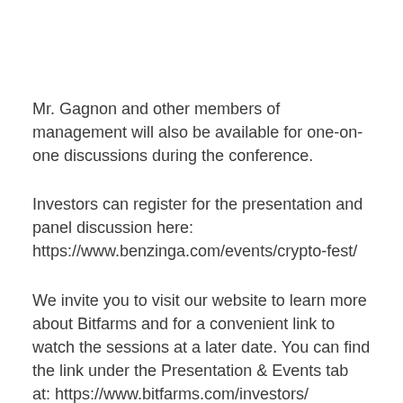Mr. Gagnon and other members of management will also be available for one-on-one discussions during the conference.
Investors can register for the presentation and panel discussion here: https://www.benzinga.com/events/crypto-fest/
We invite you to visit our website to learn more about Bitfarms and for a convenient link to watch the sessions at a later date. You can find the link under the Presentation & Events tab at: https://www.bitfarms.com/investors/